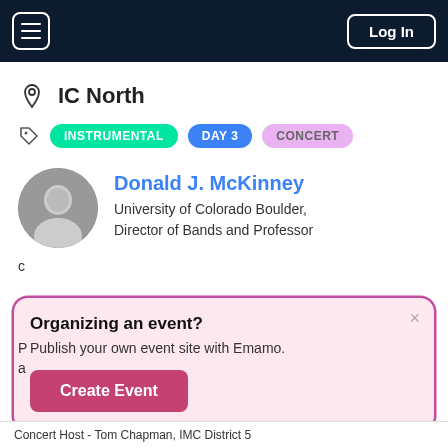Log In
IC North
INSTRUMENTAL  DAY 3  CONCERT
Donald J. McKinney
University of Colorado Boulder,
Director of Bands and Professor
Organizing an event?
Publish your own event site with Emamo.
Create Event
Concert Host - Tom Chapman, IMC District 5